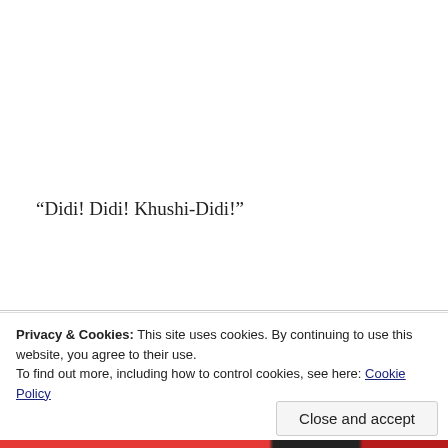“Didi! Didi! Khushi-Didi!”
Privacy & Cookies: This site uses cookies. By continuing to use this website, you agree to their use.
To find out more, including how to control cookies, see here: Cookie Policy
Close and accept